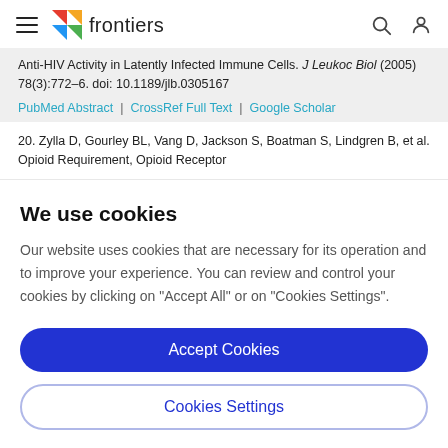frontiers (navigation bar with hamburger menu, logo, search and user icons)
Anti-HIV Activity in Latently Infected Immune Cells. J Leukoc Biol (2005) 78(3):772–6. doi: 10.1189/jlb.0305167
PubMed Abstract | CrossRef Full Text | Google Scholar
20. Zylla D, Gourley BL, Vang D, Jackson S, Boatman S, Lindgren B, et al. Opioid Requirement, Opioid Receptor
We use cookies
Our website uses cookies that are necessary for its operation and to improve your experience. You can review and control your cookies by clicking on "Accept All" or on "Cookies Settings".
Accept Cookies
Cookies Settings